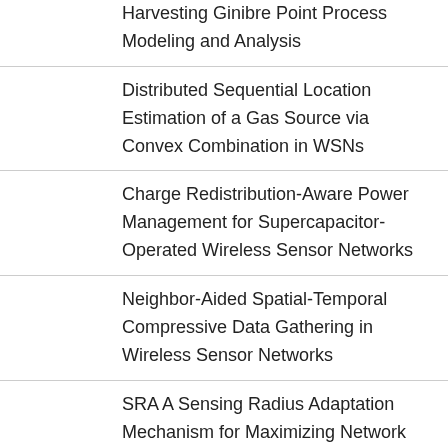Harvesting Ginibre Point Process Modeling and Analysis
Distributed Sequential Location Estimation of a Gas Source via Convex Combination in WSNs
Charge Redistribution-Aware Power Management for Supercapacitor-Operated Wireless Sensor Networks
Neighbor-Aided Spatial-Temporal Compressive Data Gathering in Wireless Sensor Networks
SRA A Sensing Radius Adaptation Mechanism for Maximizing Network Lifetime in WSNs
Non-Parametric and Semi-Parametric